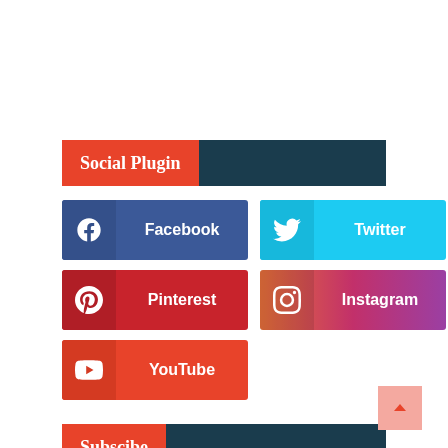Social Plugin
Facebook
Twitter
Pinterest
Instagram
YouTube
Subscibe
Posts
Comments